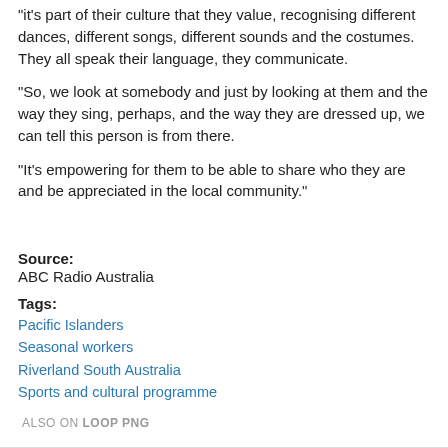"it's part of their culture that they value, recognising different dances, different songs, different sounds and the costumes. They all speak their language, they communicate.
"So, we look at somebody and just by looking at them and the way they sing, perhaps, and the way they are dressed up, we can tell this person is from there.
"It's empowering for them to be able to share who they are and be appreciated in the local community."
Source:
ABC Radio Australia
Tags:
Pacific Islanders
Seasonal workers
Riverland South Australia
Sports and cultural programme
ALSO ON LOOP PNG